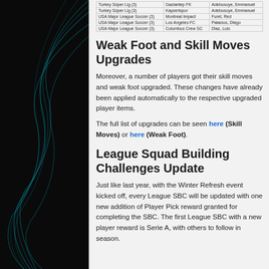|  |  |  |
| --- | --- | --- |
| Turkey Süper Lig (3) | Gaziantep FK | Adebusoye, Emmanuel |
| Turkey Süper Lig (3) | Kayserispor | Adebusoye, Emmanuel |
| USA Major League Soccer (3) | Montreal Impact | Furet, Red |
| USA Major League Soccer (3) | Los Angeles FC | Palacios, Diego |
| USA Major League Soccer (3) | Columbus Crew SC | Diaz, Luis |
Weak Foot and Skill Moves Upgrades
Moreover, a number of players got their skill moves and weak foot upgraded. These changes have already been applied automatically to the respective upgraded player items.
The full list of upgrades can be seen here (Skill Moves) or here (Weak Foot).
League Squad Building Challenges Update
Just like last year, with the Winter Refresh event kicked off, every League SBC will be updated with one new addition of Player Pick reward granted for completing the SBC. The first League SBC with a new player reward is Serie A, with others to follow in season.